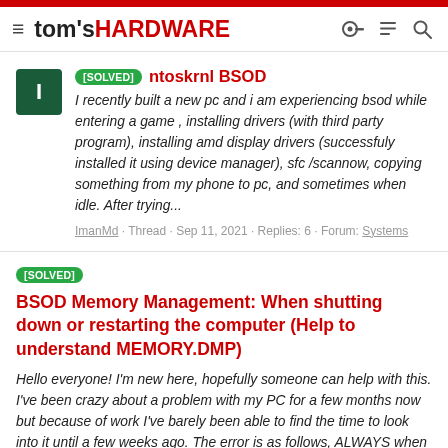tom's HARDWARE
[SOLVED] ntoskrnl BSOD
I recently built a new pc and i am experiencing bsod while entering a game , installing drivers (with third party program), installing amd display drivers (successfuly installed it using device manager), sfc /scannow, copying something from my phone to pc, and sometimes when idle. After trying...
ImanMd · Thread · Sep 11, 2021 · Replies: 6 · Forum: Systems
[SOLVED] BSOD Memory Management: When shutting down or restarting the computer (Help to understand MEMORY.DMP)
Hello everyone! I'm new here, hopefully someone can help with this. I've been crazy about a problem with my PC for a few months now but because of work I've barely been able to find the time to look into it until a few weeks ago. The error is as follows, ALWAYS when I turn off or restart the...